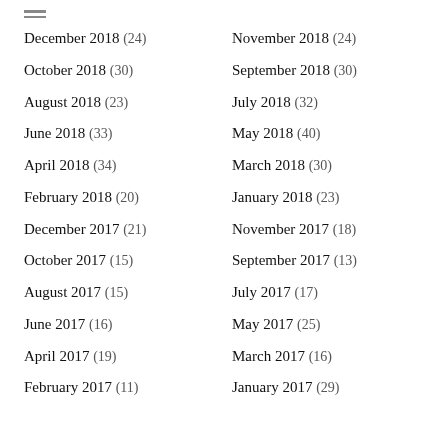December 2018 (24)
November 2018 (24)
October 2018 (30)
September 2018 (30)
August 2018 (23)
July 2018 (32)
June 2018 (33)
May 2018 (40)
April 2018 (34)
March 2018 (30)
February 2018 (20)
January 2018 (23)
December 2017 (21)
November 2017 (18)
October 2017 (15)
September 2017 (13)
August 2017 (15)
July 2017 (17)
June 2017 (16)
May 2017 (25)
April 2017 (19)
March 2017 (16)
February 2017 (11)
January 2017 (29)